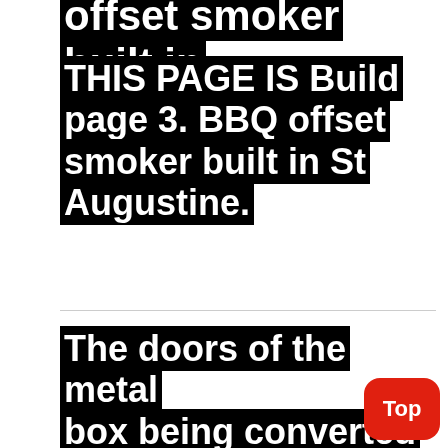offset smoker built in St Augustine.
THIS PAGE IS Build page 3. BBQ offset smoker built in St Augustine.
The doors of the metal box being converted into a smoker, had